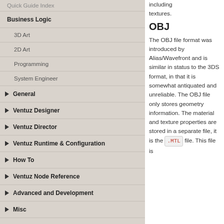Quick Guide Index
Business Logic
3D Art
2D Art
Programming
System Engineer
General
Ventuz Designer
Ventuz Director
Ventuz Runtime & Configuration
How To
Ventuz Node Reference
Advanced and Development
Misc
OBJ
including textures.
The OBJ file format was introduced by Alias/Wavefront and is similar in status to the 3DS format, in that it is somewhat antiquated and unreliable. The OBJ file only stores geometry information. The material and texture properties are stored in a separate file, it is the .MTL file. This file is